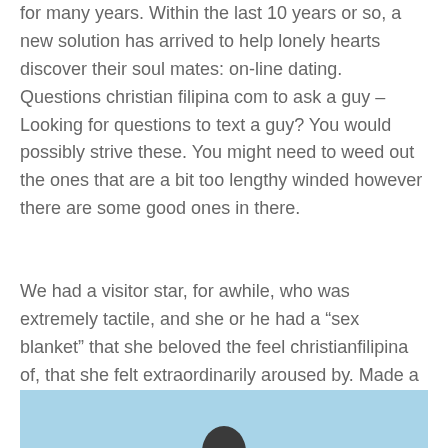for many years. Within the last 10 years or so, a new solution has arrived to help lonely hearts discover their soul mates: on-line dating. Questions christian filipina com to ask a guy – Looking for questions to text a guy? You would possibly strive these. You might need to weed out the ones that are a bit too lengthy winded however there are some good ones in there.
We had a visitor star, for awhile, who was extremely tactile, and she or he had a “sex blanket” that she beloved the feel christianfilipina of, that she felt extraordinarily aroused by. Made a pair of pants out of the identical materials. Vastly amusing when the lot of us went out.
[Figure (photo): Photo with light blue sky background and a dark silhouette of a person's head visible at the bottom center of the image.]